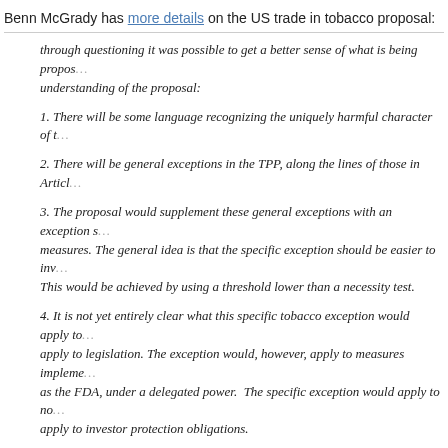Benn McGrady has more details on the US trade in tobacco proposal:
through questioning it was possible to get a better sense of what is being proposed. My understanding of the proposal:
1. There will be some language recognizing the uniquely harmful character of t[obacco]
2. There will be general exceptions in the TPP, along the lines of those in Articl[e XX of GATT]
3. The proposal would supplement these general exceptions with an exception s[pecific to tobacco] measures. The general idea is that the specific exception should be easier to inv[oke]. This would be achieved by using a threshold lower than a necessity test.
4. It is not yet entirely clear what this specific tobacco exception would apply to[. It would not] apply to legislation. The exception would, however, apply to measures impleme[nted by agencies] as the FDA, under a delegated power. The specific exception would apply to no[n-] apply to investor protection obligations.
5. The specific exception would protect the adoption of regulations “that impos[e] restrictions on specific tobacco products/classes in order to safeguard public he[alth]
...